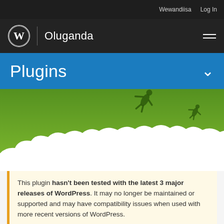Wewandiisa  Log In
Oluganda
Plugins
[Figure (illustration): Green sky hero illustration with two dark silhouette figures flying through the air above stylized white clouds]
This plugin hasn't been tested with the latest 3 major releases of WordPress. It may no longer be maintained or supported and may have compatibility issues when used with more recent versions of WordPress.